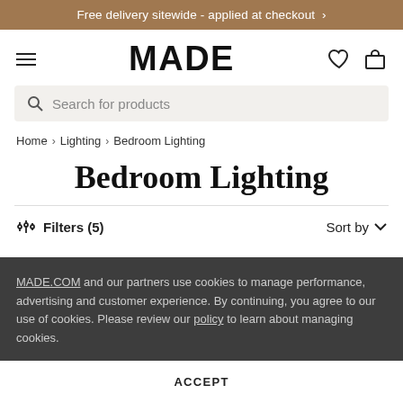Free delivery sitewide - applied at checkout >
MADE
Search for products
Home > Lighting > Bedroom Lighting
Bedroom Lighting
Filters (5)   Sort by
MADE.COM and our partners use cookies to manage performance, advertising and customer experience. By continuing, you agree to our use of cookies. Please review our policy to learn about managing cookies.
ACCEPT